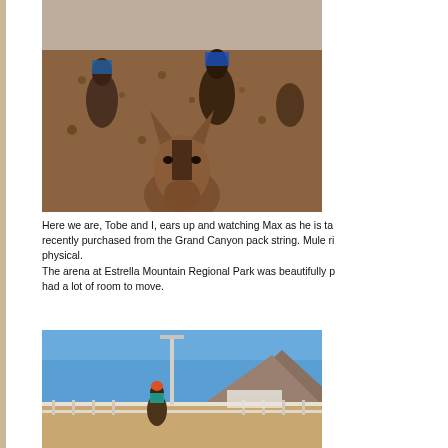[Figure (photo): Close-up view from mule rider's perspective showing the back of a mule's head with ears up, while another rider on a mule is visible in the background in a dirt arena with metal fencing.]
Here we are, Tobe and I, ears up and watching Max as he is ta... recently purchased from the Grand Canyon pack string. Mule ri... physical.
The arena at Estrella Mountain Regional Park was beautifully p... had a lot of room to move.
[Figure (photo): A rider on a mule in a large outdoor arena at Estrella Mountain Regional Park, with blue sky, mountains in the background, and metal arena fencing visible.]